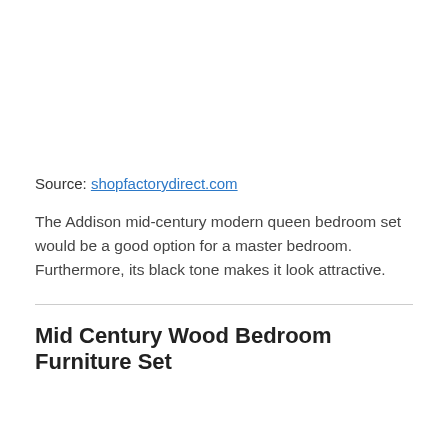Source: shopfactorydirect.com
The Addison mid-century modern queen bedroom set would be a good option for a master bedroom. Furthermore, its black tone makes it look attractive.
Mid Century Wood Bedroom Furniture Set